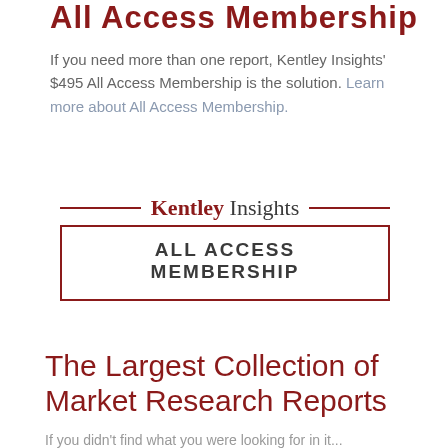All Access Membership (partial, cropped at top)
If you need more than one report, Kentley Insights' $495 All Access Membership is the solution. Learn more about All Access Membership.
[Figure (logo): Kentley Insights ALL ACCESS MEMBERSHIP logo with decorative lines and border box]
The Largest Collection of Market Research Reports
If you didn't find what you were looking for in it...